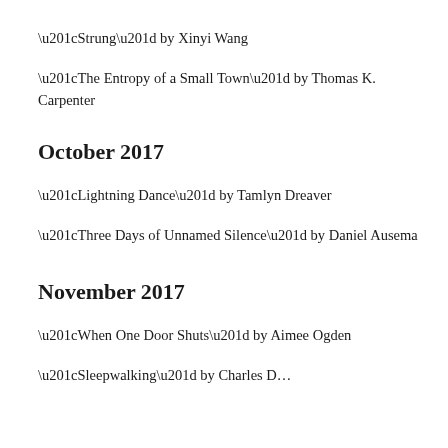“Strung” by Xinyi Wang
“The Entropy of a Small Town” by Thomas K. Carpenter
October 2017
“Lightning Dance” by Tamlyn Dreaver
“Three Days of Unnamed Silence” by Daniel Ausema
November 2017
“When One Door Shuts” by Aimee Ogden
“Sleepwalking” by Charles D…